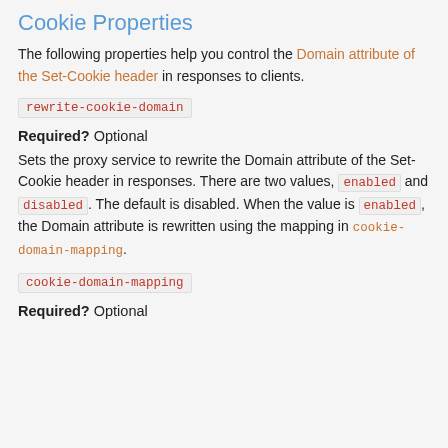Cookie Properties
The following properties help you control the Domain attribute of the Set-Cookie header in responses to clients.
rewrite-cookie-domain
Required? Optional
Sets the proxy service to rewrite the Domain attribute of the Set-Cookie header in responses. There are two values, enabled and disabled. The default is disabled. When the value is enabled, the Domain attribute is rewritten using the mapping in cookie-domain-mapping.
cookie-domain-mapping
Required? Optional